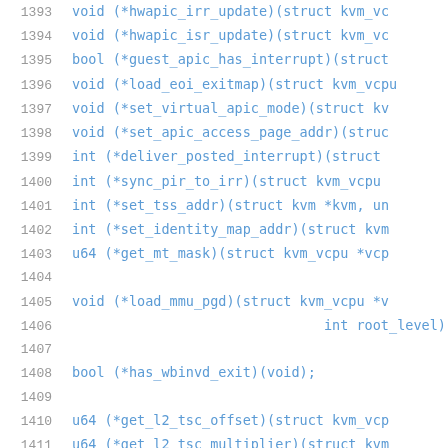[Figure (screenshot): Source code listing showing C-style function pointer declarations in a struct, with line numbers 1393-1414. Lines show void, bool, int, u64 typed function pointers for KVM (Kernel-based Virtual Machine) operations. Line numbers in gray, code in blue/teal color on white background.]